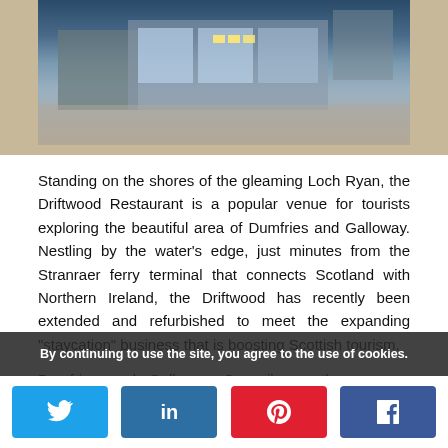[Figure (photo): Exterior photo of Driftwood Restaurant building at dusk, showing modern glass facade with illuminated interior, paved forecourt area]
Standing on the shores of the gleaming Loch Ryan, the Driftwood Restaurant is a popular venue for tourists exploring the beautiful area of Dumfries and Galloway. Nestling by the water's edge, just minutes from the Stranraer ferry terminal that connects Scotland with Northern Ireland, the Driftwood has recently been extended and refurbished to meet the expanding "staycation" business that is boosting Scottish tourism.
Dumfries and Galloway Council are the property landlords of Driftwood who carried out a business assessment that established the need to expand the property to meet the required capacity and the ... ability of the
By continuing to use the site, you agree to the use of cookies.